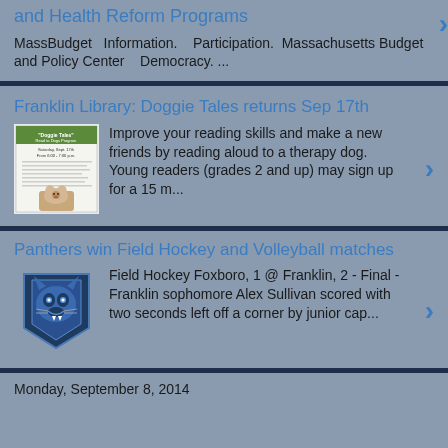and Health Reform Programs
MassBudget   Information.   Participation.  Massachusetts Budget and Policy Center   Democracy. ...
Franklin Library: Doggie Tales returns Sep 17th
Improve your reading skills and make a new friends by reading aloud to a therapy dog. Young readers (grades 2 and up) may sign up for a 15 m...
Panthers win Field Hockey and Volleyball matches
Field Hockey Foxboro, 1 @ Franklin, 2 - Final - Franklin sophomore Alex Sullivan scored with two seconds left off a corner by junior cap...
Monday, September 8, 2014